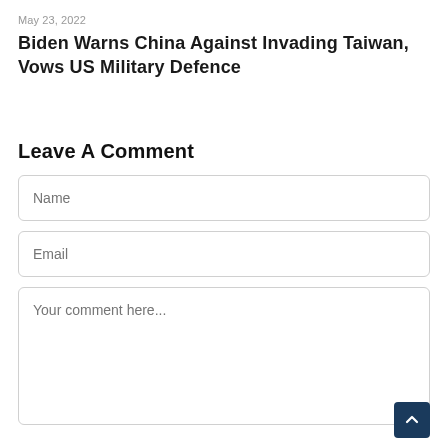May 23, 2022
Biden Warns China Against Invading Taiwan, Vows US Military Defence
Leave A Comment
Name
Email
Your comment here...